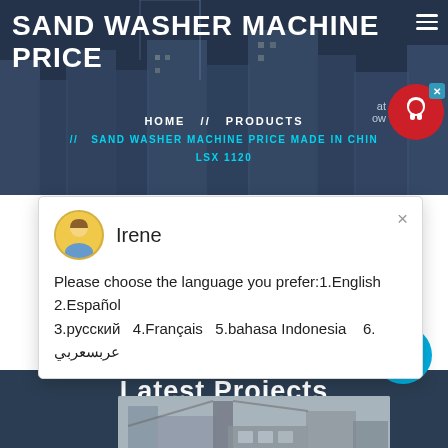SAND WASHER MACHINE PRICE
HOME  //  PRODUCTS  //  SAND WASHER MACHINE PRICE MADE IN CHINA LSX 1120
Irene
Please choose the language you prefer:1.English  2.Español  3.русский  4.Français  5.bahasa Indonesia   6. عربسعربي
Latest Projects
[Figure (photo): Industrial machinery / sand washer equipment photo at bottom of page]
1